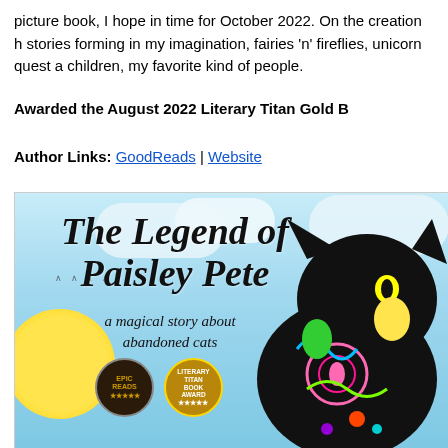picture book, I hope in time for October 2022. On the creation h stories forming in my imagination, fairies 'n' fireflies, unicorn quest a children, my favorite kind of people.
Awarded the August 2022 Literary Titan Gold B
Author Links: GoodReads | Website
[Figure (illustration): Book cover for 'The Legend of Paisley Pete - a magical story about abandoned cats'. Features a colorful folk-art style cat on a sky blue background with clouds, a yellow sun, award badges, and decorative typography.]